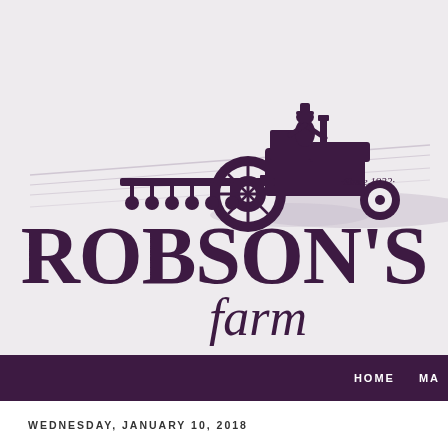[Figure (logo): Robson's Farm logo with tractor silhouette, field lines, 'Since 1932' text, large 'ROBSON'S' serif wordmark and 'farm' in italic script below]
HOME  MA
WEDNESDAY, JANUARY 10, 2018